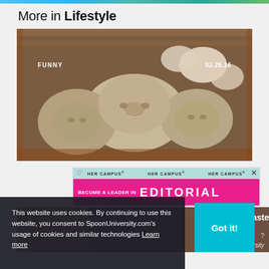More in Lifestyle
[Figure (photo): Photo of dumpling/dim sum shaped like human faces in a bamboo steamer basket. Labels: FUNNY (top left), 02.25.16 (top right).]
[Figure (infographic): Her Campus advertisement banner: 'BECOME A LEADER IN EDITORIAL']
[Figure (photo): Partially visible article preview image with headline '...nerica Taste']
This website uses cookies. By continuing to use this website, you consent to SpoonUniversity.com's usage of cookies and similar technologies Learn more
Got it!